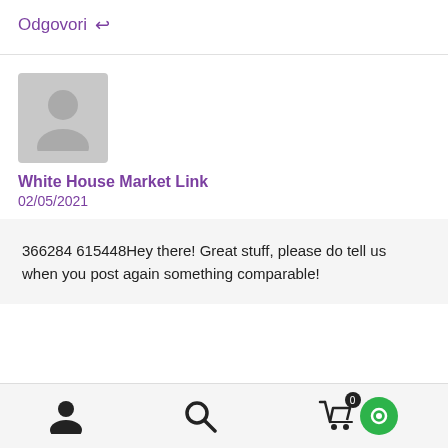Odgovori ↩
[Figure (illustration): Default grey avatar/user placeholder image]
White House Market Link
02/05/2021
366284 615448Hey there! Great stuff, please do tell us when you post again something comparable!
[Figure (screenshot): Bottom navigation bar with user icon, search icon, cart with badge count 0, and green circle chat button]